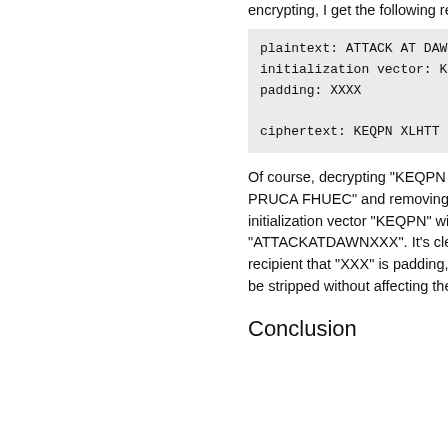encrypting, I get the following result:
plaintext: ATTACK AT DAWN
initialization vector: KEQPN
padding: XXXX

ciphertext: KEQPN XLHTT PRUCA
Of course, decrypting "KEQPN XLHTT PRUCA FHUEC" and removing the initialization vector "KEQPN" will reveal "ATTACKATDAWNXXX". It's clear to the recipient that "XXX" is padding, and can be stripped without affecting the plaintext.
Conclusion